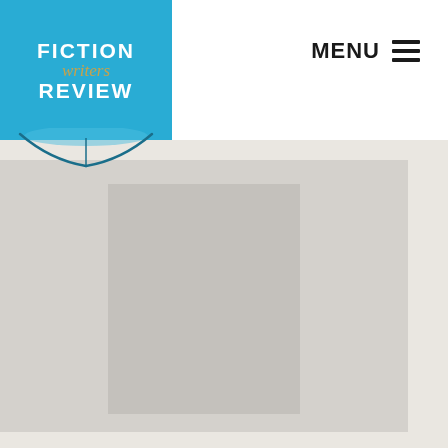[Figure (logo): Fiction Writers Review logo — blue square with white FICTION and REVIEW text, gold italic 'writers' in the middle, and an open book icon at the bottom]
MENU ≡
[Figure (photo): Book cover image placeholder shown as a gray rectangle with a lighter inner rectangle representing a book cover]
Whether writing what she knows or writing what she doesn't — and needs to find out — any fiction writer can learn from reporters.
Reporters go out into the